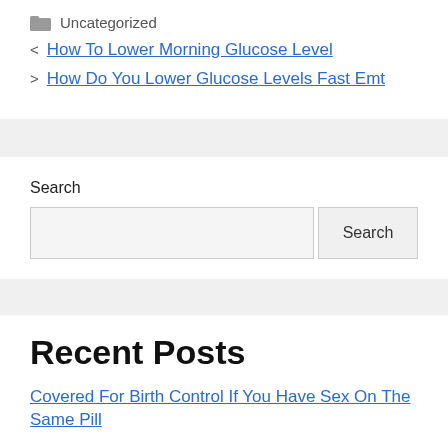Uncategorized
< How To Lower Morning Glucose Level
> How Do You Lower Glucose Levels Fast Emt
Search
Recent Posts
Covered For Birth Control If You Have Sex On The Same Pill